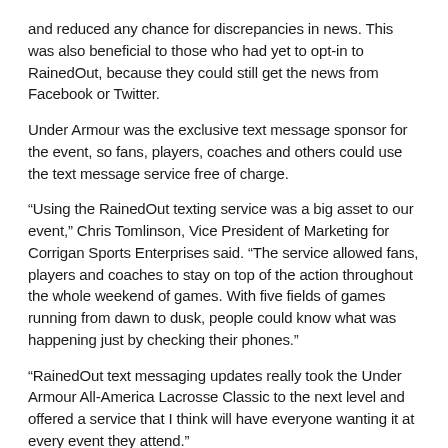and reduced any chance for discrepancies in news. This was also beneficial to those who had yet to opt-in to RainedOut, because they could still get the news from Facebook or Twitter.
Under Armour was the exclusive text message sponsor for the event, so fans, players, coaches and others could use the text message service free of charge.
“Using the RainedOut texting service was a big asset to our event,” Chris Tomlinson, Vice President of Marketing for Corrigan Sports Enterprises said. “The service allowed fans, players and coaches to stay on top of the action throughout the whole weekend of games. With five fields of games running from dawn to dusk, people could know what was happening just by checking their phones.”
“RainedOut text messaging updates really took the Under Armour All-America Lacrosse Classic to the next level and offered a service that I think will have everyone wanting it at every event they attend.”
About Corrigan Sports Enterprises
Corrigan Sports Enterprises (www.corrigansports.com) is a leader in Sports Marketing and Event Management headquartered in the Baltimore/Washington D.C. region. Founded in 1991, CSE owns and